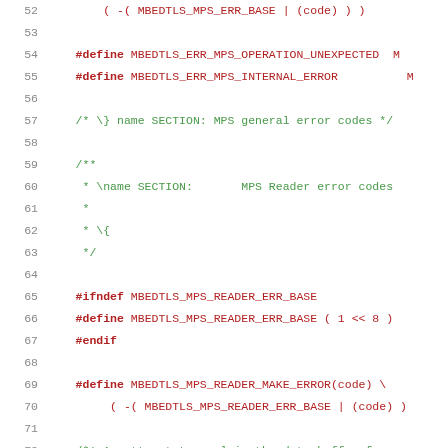52    ( -( MBEDTLS_MPS_ERR_BASE | (code) ) )
53
54    #define MBEDTLS_ERR_MPS_OPERATION_UNEXPECTED  MP
55    #define MBEDTLS_ERR_MPS_INTERNAL_ERROR         MI
56
57    /* \} name SECTION: MPS general error codes */
58
59    /**
60     * \name SECTION:      MPS Reader error codes
61     *
62     * \{
63     */
64
65    #ifndef MBEDTLS_MPS_READER_ERR_BASE
66    #define MBEDTLS_MPS_READER_ERR_BASE ( 1 << 8 )
67    #endif
68
69    #define MBEDTLS_MPS_READER_MAKE_ERROR(code) \
70        ( -( MBEDTLS_MPS_READER_ERR_BASE | (code) )
71
72    /*! An attempt to reclaim the data buffer from s